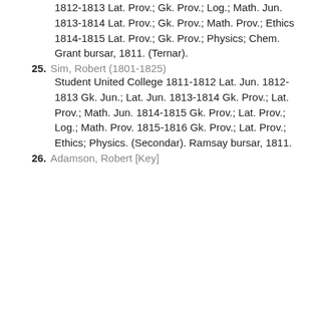1812-1813 Lat. Prov.; Gk. Prov.; Log.; Math. Jun. 1813-1814 Lat. Prov.; Gk. Prov.; Math. Prov.; Ethics 1814-1815 Lat. Prov.; Gk. Prov.; Physics; Chem. Grant bursar, 1811. (Ternar).
25. Sim, Robert (1801-1825) Student United College 1811-1812 Lat. Jun. 1812-1813 Gk. Jun.; Lat. Jun. 1813-1814 Gk. Prov.; Lat. Prov.; Math. Jun. 1814-1815 Gk. Prov.; Lat. Prov.; Log.; Math. Prov. 1815-1816 Gk. Prov.; Lat. Prov.; Ethics; Physics. (Secondar). Ramsay bursar, 1811.
26. Adamson, Robert [Key]